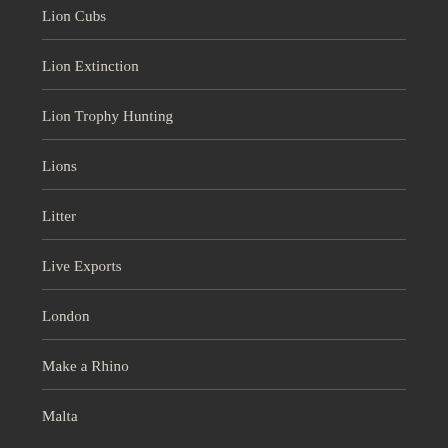Lion Cubs
Lion Extinction
Lion Trophy Hunting
Lions
Litter
Live Exports
London
Make a Rhino
Malta